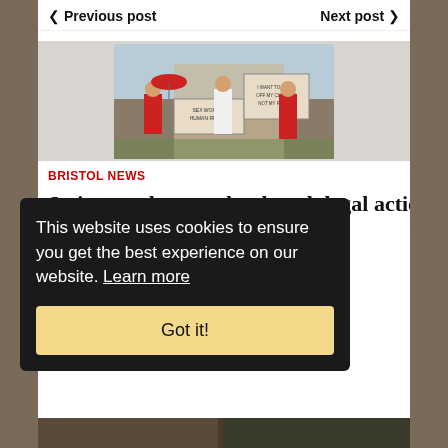< Previous post   Next post >
[Figure (photo): Protest photo showing people in red outfits holding signs reading 'SEX WORK IS HUMAN RIGHTS' and 'I WANT TO STRIP OFF MY CLOTHES NOT MY RIGHTS']
BRISTOL NEWS
Strippers threaten landmark legal action if
This website uses cookies to ensure you get the best experience on our website. Learn more
Got it!